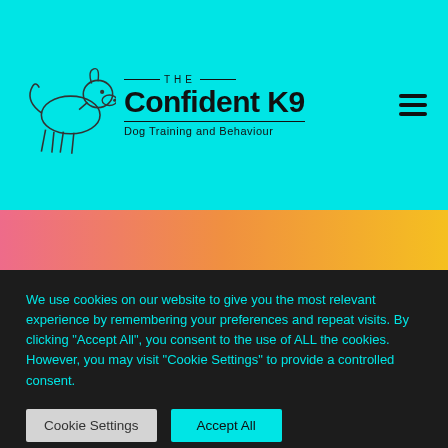The Confident K9 — Dog Training and Behaviour
[Figure (illustration): Website screenshot showing The Confident K9 dog training website header with cyan background, dog logo, brand name, and hamburger menu. Below is a gradient banner (pink to yellow-orange). A dark cookie consent overlay contains text and two buttons.]
We use cookies on our website to give you the most relevant experience by remembering your preferences and repeat visits. By clicking "Accept All", you consent to the use of ALL the cookies. However, you may visit "Cookie Settings" to provide a controlled consent.
Cookie Settings
Accept All